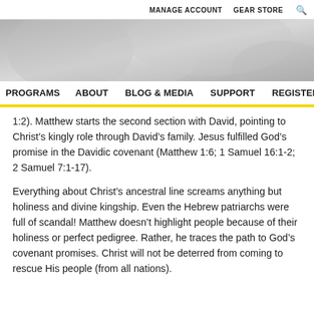MANAGE ACCOUNT   GEAR STORE
PROGRAMS   ABOUT   BLOG & MEDIA   SUPPORT   REGISTER
1:2). Matthew starts the second section with David, pointing to Christ’s kingly role through David’s family. Jesus fulfilled God’s promise in the Davidic covenant (Matthew 1:6; 1 Samuel 16:1-2; 2 Samuel 7:1-17).
Everything about Christ’s ancestral line screams anything but holiness and divine kingship. Even the Hebrew patriarchs were full of scandal! Matthew doesn’t highlight people because of their holiness or perfect pedigree. Rather, he traces the path to God’s covenant promises. Christ will not be deterred from coming to rescue His people (from all nations).